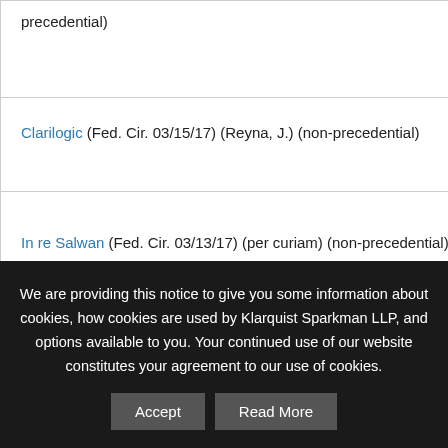| Case | Subject Matter |
| --- | --- |
| (non-precedential) |  |
| Clarilogic (Fed. Cir. 03/15/17) (Reyna, J.) (non-precedential) | "gathering financial information about borrowers;" "a method ... generation of information ... are not limited to how ... analyzed or reformed..." |
| In re Salwan (Fed. Cir. 03/13/17) (per curiam) (non-precedential) | "billing insurance com... health information" |
We are providing this notice to give you some information about cookies, how cookies are used by Klarquist Sparkman LLP, and options available to you. Your continued use of our website constitutes your agreement to our use of cookies.